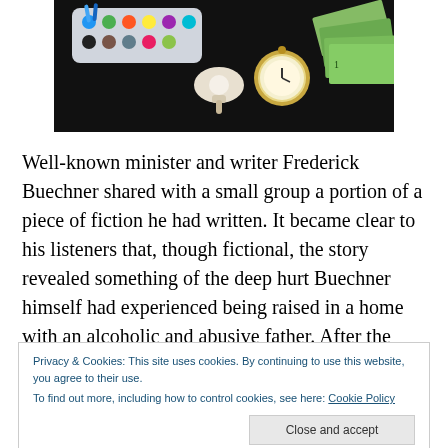[Figure (photo): Photo of art supplies including a watercolor paint palette with colorful paints, a pacifier/dummy, a pocket watch, and US dollar bills arranged on a dark black background.]
Well-known minister and writer Frederick Buechner shared with a small group a portion of a piece of fiction he had written. It became clear to his listeners that, though fictional, the story revealed something of the deep hurt Buechner himself had experienced being raised in a home with an alcoholic and abusive father. After the reading a
Privacy & Cookies: This site uses cookies. By continuing to use this website, you agree to their use.
To find out more, including how to control cookies, see here: Cookie Policy
I wonder, are we good stewards of our pain? As a